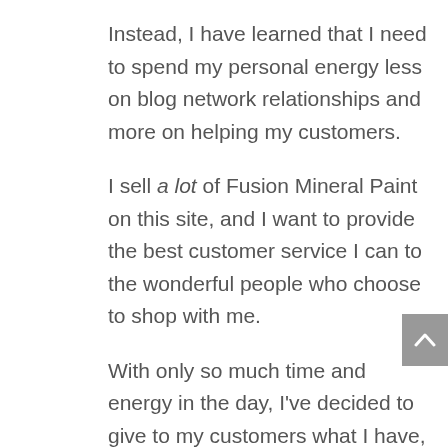Instead, I have learned that I need to spend my personal energy less on blog network relationships and more on helping my customers.
I sell a lot of Fusion Mineral Paint on this site, and I want to provide the best customer service I can to the wonderful people who choose to shop with me.
With only so much time and energy in the day, I've decided to give to my customers what I have, and less to the blog world.
So whether you're shopping for paint, downloading my ebook Furniture Flipper, or